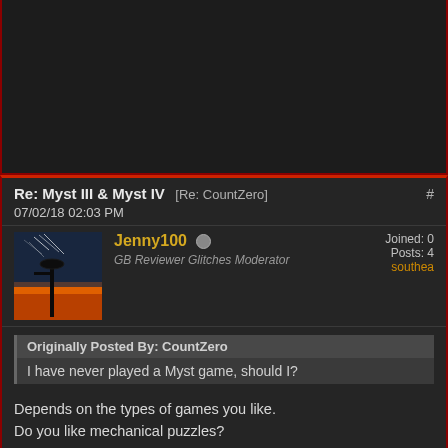[Figure (screenshot): Dark forum panel at the top, partially cut off]
Re: Myst III & Myst IV [Re: CountZero]
07/02/18 02:03 PM
Jenny100  GB Reviewer Glitches Moderator  Joined:  Posts: 4  southea
Originally Posted By: CountZero
I have never played a Myst game, should I?
Depends on the types of games you like.
Do you like mechanical puzzles?
Do you like exploration?
Do you mind if there are few characters to interact with and you are mainly exploring on your own?
Re: Myst III & Myst IV [Re: Lion_1251]